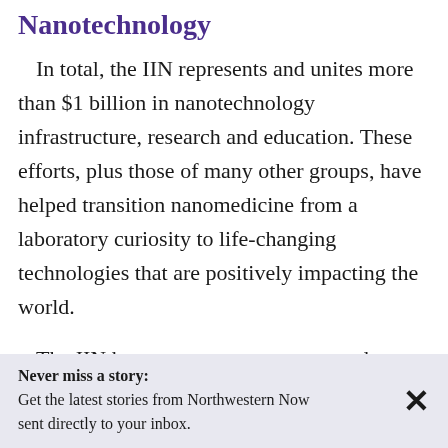Nanotechnology
In total, the IIN represents and unites more than $1 billion in nanotechnology infrastructure, research and education. These efforts, plus those of many other groups, have helped transition nanomedicine from a laboratory curiosity to life-changing technologies that are positively impacting the world.
The IIN houses numerous centers and institutes, including the Center for...
Never miss a story: Get the latest stories from Northwestern Now sent directly to your inbox.